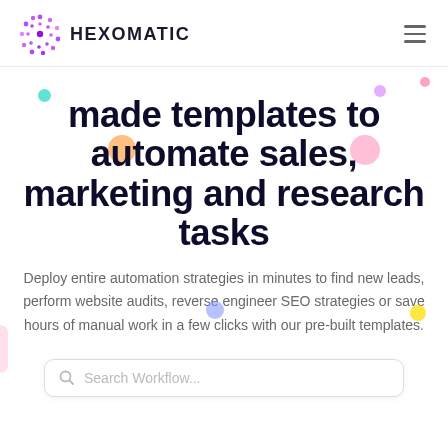[Figure (logo): Hexomatic logo: purple dotted hexagon icon and HEXOMATIC text in bold dark navy]
made templates to automate sales, marketing and research tasks
Deploy entire automation strategies in minutes to find new leads, perform website audits, reverse engineer SEO strategies or save hours of manual work in a few clicks with our pre-built templates.
Search Workflow...